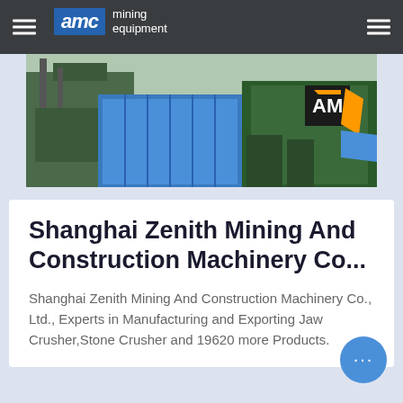AMC mining equipment
[Figure (photo): Industrial mining equipment facility with blue tarps and green machinery, AMC logo visible on orange and black signage]
Shanghai Zenith Mining And Construction Machinery Co...
Shanghai Zenith Mining And Construction Machinery Co., Ltd., Experts in Manufacturing and Exporting Jaw Crusher,Stone Crusher and 19620 more Products.